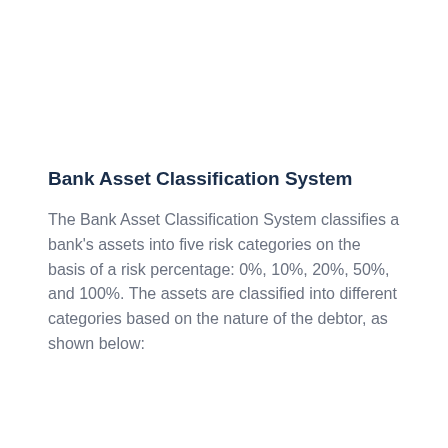Bank Asset Classification System
The Bank Asset Classification System classifies a bank's assets into five risk categories on the basis of a risk percentage: 0%, 10%, 20%, 50%, and 100%. The assets are classified into different categories based on the nature of the debtor, as shown below: